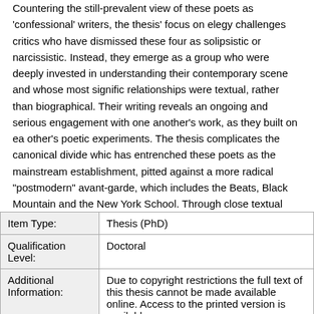Countering the still-prevalent view of these poets as 'confessional' writers, the thesis' focus on elegy challenges critics who have dismissed these four as solipsistic or narcissistic. Instead, they emerge as a group who were deeply invested in understanding their contemporary scene and whose most significant relationships were textual, rather than biographical. Their writing reveals an ongoing and serious engagement with one another's work, as they built on each other's poetic experiments. The thesis complicates the canonical divide which has entrenched these poets as the mainstream establishment, pitted against a more radical "postmodern" avant-garde, which includes the Beats, Black Mountain and the New York School. Through close textual analysis and an exploration of their links with Elizabeth Bishop, Schwartz, Jarrell, Berryman and Lowell are posited as poets whose engagement with the elegy has significantly altered the post-World War II poetic landscape.
| Field | Value |
| --- | --- |
| Item Type: | Thesis (PhD) |
| Qualification Level: | Doctoral |
| Additional Information: | Due to copyright restrictions the full text of this thesis cannot be made available online. Access to the printed version is available |